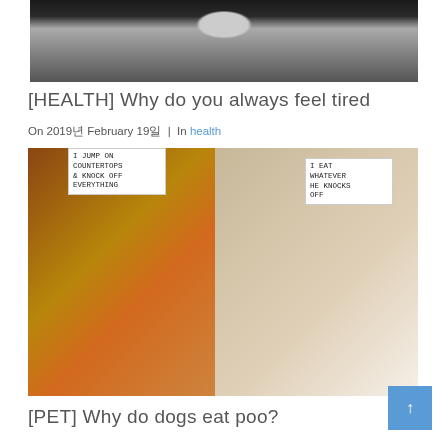[Figure (photo): Two people standing, partial view, dark background]
[HEALTH] Why do you always feel tired
On 2019년 February 19일 | In health
[Figure (photo): Two dogs wearing shame signs. Left dog (brown): 'I JUMP ON COUNTERTOPS & KNOCK OFF EVERYTHING'. Right dog (white/tan): 'I EAT WHATEVER HE KNOCKS OFF']
[PET] Why do dogs eat poo?